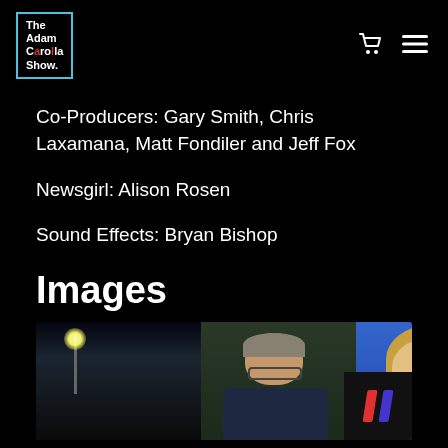The Adam Carolla Show. [nav: cart icon, menu icon]
Co-Producers: Gary Smith, Chris Laxamana, Matt Fondiler and Jeff Fox
Newsgirl: Alison Rosen
Sound Effects: Bryan Bishop
Images
[Figure (photo): Screenshot of a webpage showing a dark-themed podcast site with a photo of two TV personalities (a man with glasses and a blonde woman) from what appears to be a news broadcast, with a pause icon overlay in the bottom right corner.]